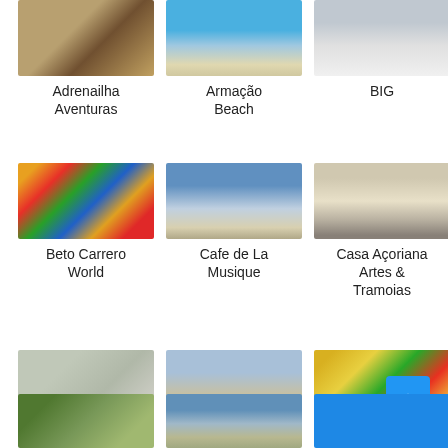[Figure (photo): Partial photo of Adrenailha Aventuras at top]
Adrenailha Aventuras
[Figure (photo): Partial photo of Armação Beach at top]
Armação Beach
[Figure (photo): Partial photo of BIG at top]
BIG
[Figure (photo): Photo of Beto Carrero World colorful temple]
Beto Carrero World
[Figure (photo): Photo of Cafe de La Musique beach]
Cafe de La Musique
[Figure (photo): Photo of Casa Açoriana Artes & Tramoias street]
Casa Açoriana Artes & Tramoias
[Figure (photo): Photo of Corrego Grande Municipal Park]
Corrego Grande Municipal Park
[Figure (photo): Photo of Dunes of Joaquina]
Dunes of Joaquina
[Figure (photo): Photo of Falah Coffee & Store]
Falah Coffee & Store
[Figure (photo): Partial photo row 4 left - trees]
[Figure (photo): Partial photo row 4 center - landscape]
[Figure (photo): Partial photo row 4 right - blue]